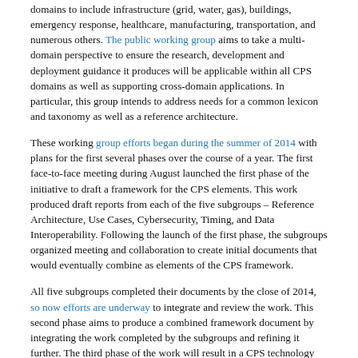domains to include infrastructure (grid, water, gas), buildings, emergency response, healthcare, manufacturing, transportation, and numerous others. The public working group aims to take a multi-domain perspective to ensure the research, development and deployment guidance it produces will be applicable within all CPS domains as well as supporting cross-domain applications. In particular, this group intends to address needs for a common lexicon and taxonomy as well as a reference architecture.
These working group efforts began during the summer of 2014 with plans for the first several phases over the course of a year. The first face-to-face meeting during August launched the first phase of the initiative to draft a framework for the CPS elements. This work produced draft reports from each of the five subgroups – Reference Architecture, Use Cases, Cybersecurity, Timing, and Data Interoperability. Following the launch of the first phase, the subgroups organized meeting and collaboration to create initial documents that would eventually combine as elements of the CPS framework.
All five subgroups completed their documents by the close of 2014, so now efforts are underway to integrate and review the work. This second phase aims to produce a combined framework document by integrating the work completed by the subgroups and refining it further. The third phase of the work will result in a CPS technology roadmap which will identify opportunities for additional collaboration and propose a timeline for follow-on efforts to address key technical challenges.
According to the current timeline, the combined framework is expected to be finalized this spring.  The group is scheduled to have its next face-to-face meeting in April, which will conclude the framework phase and launch the roadmap activities. A draft of the roadmap is anticipated in June 2015.